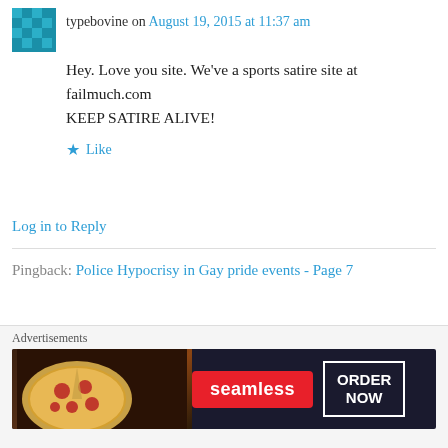typebovine on August 19, 2015 at 11:37 am
Hey. Love you site. We've a sports satire site at failmuch.com
KEEP SATIRE ALIVE!
★ Like
Log in to Reply
Pingback: Police Hypocrisy in Gay pride events - Page 7
Pingback: Selfie merupakan Gangguan Jiwa? | Garvin Goei
[Figure (screenshot): Seamless food ordering advertisement banner showing pizza and ORDER NOW button]